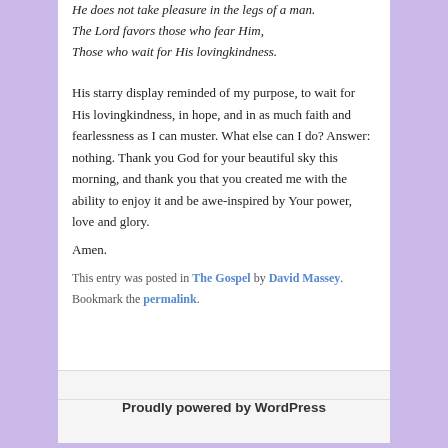He does not take pleasure in the legs of a man.
The Lord favors those who fear Him,
Those who wait for His lovingkindness.
His starry display reminded of my purpose, to wait for His lovingkindness, in hope, and in as much faith and fearlessness as I can muster. What else can I do? Answer: nothing. Thank you God for your beautiful sky this morning, and thank you that you created me with the ability to enjoy it and be awe-inspired by Your power, love and glory.
Amen.
This entry was posted in The Gospel by David Massey. Bookmark the permalink.
Proudly powered by WordPress